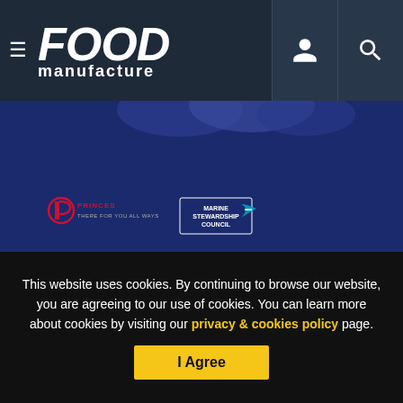FOOD manufacture
[Figure (photo): Princes brand promotional image with navy/blue background, Princes logo, MSC certified tuna badge]
Princes commits to selling 100% MSC certified tuna
PROMOTIONAL FEATURES
This website uses cookies. By continuing to browse our website, you are agreeing to our use of cookies. You can learn more about cookies by visiting our privacy & cookies policy page.
I Agree